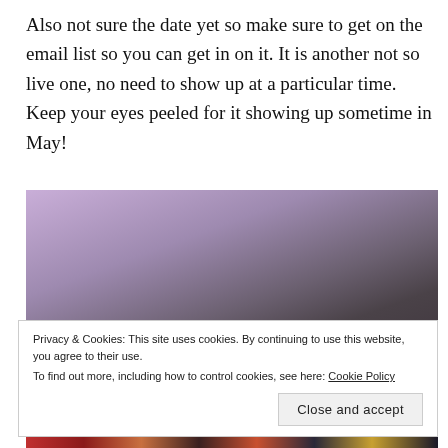Also not sure the date yet so make sure to get on the email list so you can get in on it. It is another not so live one, no need to show up at a particular time. Keep your eyes peeled for it showing up sometime in May!
[Figure (photo): A dimly lit photo with purple and dark tones, showing a person's dark hair and shoulder visible at the bottom right. The background has soft lavender and grey-purple hues.]
Privacy & Cookies: This site uses cookies. By continuing to use this website, you agree to their use.
To find out more, including how to control cookies, see here: Cookie Policy
Close and accept